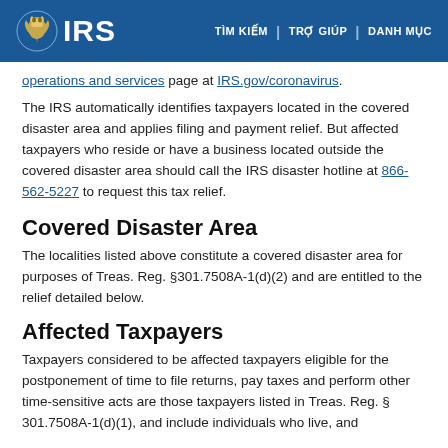IRS | TÌM KIẾM | TRỢ GIÚP | DANH MỤC
operations and services page at IRS.gov/coronavirus.
The IRS automatically identifies taxpayers located in the covered disaster area and applies filing and payment relief. But affected taxpayers who reside or have a business located outside the covered disaster area should call the IRS disaster hotline at 866-562-5227 to request this tax relief.
Covered Disaster Area
The localities listed above constitute a covered disaster area for purposes of Treas. Reg. §301.7508A-1(d)(2) and are entitled to the relief detailed below.
Affected Taxpayers
Taxpayers considered to be affected taxpayers eligible for the postponement of time to file returns, pay taxes and perform other time-sensitive acts are those taxpayers listed in Treas. Reg. § 301.7508A-1(d)(1), and include individuals who live, and